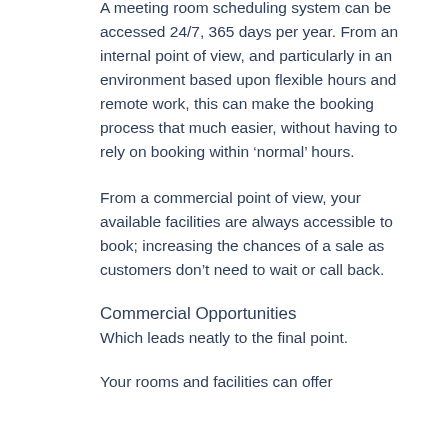A meeting room scheduling system can be accessed 24/7, 365 days per year. From an internal point of view, and particularly in an environment based upon flexible hours and remote work, this can make the booking process that much easier, without having to rely on booking within ‘normal’ hours.
From a commercial point of view, your available facilities are always accessible to book; increasing the chances of a sale as customers don’t need to wait or call back.
Commercial Opportunities
Which leads neatly to the final point.
Your rooms and facilities can offer